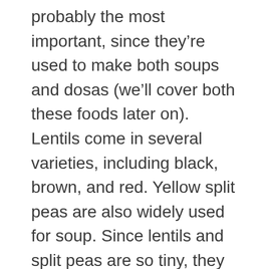probably the most important, since they're used to make both soups and dosas (we'll cover both these foods later on). Lentils come in several varieties, including black, brown, and red. Yellow split peas are also widely used for soup. Since lentils and split peas are so tiny, they cook much more quickly than larger varieties of beans.
Garbanzos and kidney beans